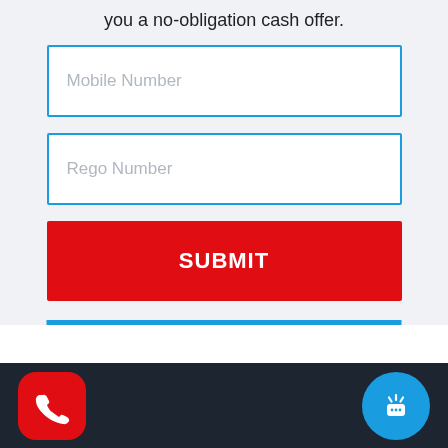you a no-obligation cash offer.
[Figure (screenshot): Mobile number input field with blue border]
[Figure (screenshot): Rego Number input field with blue border]
[Figure (screenshot): Red SUBMIT button]
[Figure (screenshot): Bottom navigation bar with red phone icon and blue chat/signal icon on dark background]